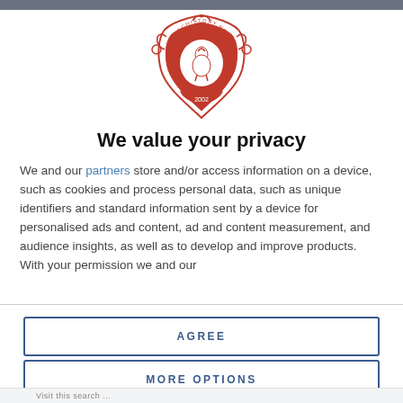[Figure (logo): Lechistory.net crest logo in red, featuring a bird (pelican/stork) on a shield with decorative flourishes and the year 2002]
We value your privacy
We and our partners store and/or access information on a device, such as cookies and process personal data, such as unique identifiers and standard information sent by a device for personalised ads and content, ad and content measurement, and audience insights, as well as to develop and improve products. With your permission we and our
AGREE
MORE OPTIONS
Visit this search ...